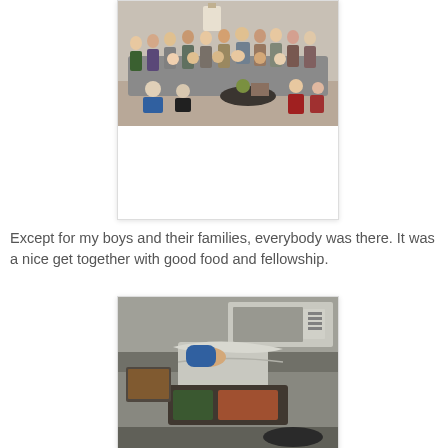[Figure (photo): Group photo of many people gathered together in a living room, sitting and standing, with a coffee table in the foreground.]
Except for my boys and their families, everybody was there. It was a nice get together with good food and fellowship.
[Figure (photo): Photo of food being served in a kitchen, with aluminum foil-covered dishes and various food items visible.]